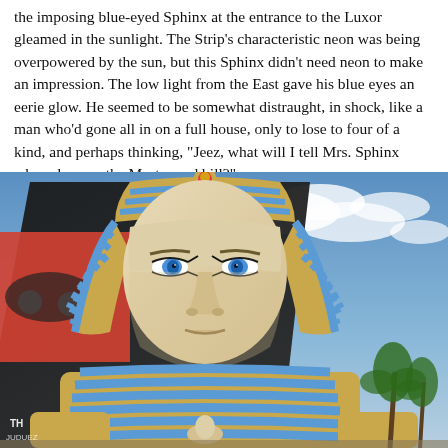the imposing blue-eyed Sphinx at the entrance to the Luxor gleamed in the sunlight. The Strip's characteristic neon was being overpowered by the sun, but this Sphinx didn't need neon to make an impression. The low light from the East gave his blue eyes an eerie glow. He seemed to be somewhat distraught, in shock, like a man who'd gone all in on a full house, only to lose to four of a kind, and perhaps thinking, "Jeez, what will I tell Mrs. Sphinx when she sees the Mastercard bill?"
[Figure (photo): Close-up photograph of the blue-eyed Sphinx statue at the entrance to the Luxor Hotel and Casino in Las Vegas. The large stone sphinx with Egyptian headdress featuring blue and gold stripes dominates the foreground. Behind it is the dark glass black pyramid of the Luxor hotel. A colorful billboard is visible on the left side. Palm trees are visible at the lower right. The sky is partly cloudy with blue sky visible. Small text 'THE' and 'JUDUEZ' visible at lower left of the image.]